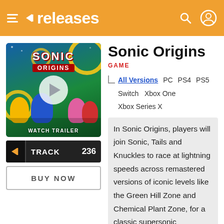releases
Sonic Origins
GAME
All Versions  PC  PS4  PS5  Switch  Xbox One  Xbox Series X
[Figure (screenshot): Sonic Origins game cover art with play button overlay and WATCH TRAILER text]
TRACK 236
BUY NOW
In Sonic Origins, players will join Sonic, Tails and Knuckles to race at lightning speeds across remastered versions of iconic levels like the Green Hill Zone and Chemical Plant Zone, for a classic supersonic experience modernized for current
generation platforms. Players can switch between the Classic